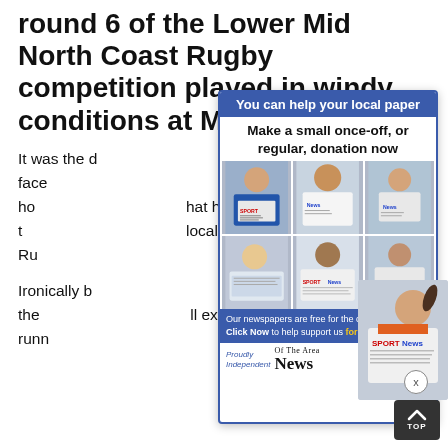round 6 of the Lower Mid North Coast Rugby competition played in windy conditions at Myall Pa
It was the … both teams face … breeze in one half ho … hat had gathered t … local Hawks Ru ….
Ironically b … forced to run into the … ll extent when runn ….
[Figure (infographic): Advertisement overlay: 'You can help your local paper – Make a small once-off, or regular, donation now' with photos of children reading newspapers, blue header/footer, 'Our newspapers are free for the community. Click Now to help support us for the future.' and 'Of The Area News' logo with 'Proudly Independent' text.]
For the Mu … ut scoring three of the … ng all four tries that m … mba were only able to convert three of their tries.